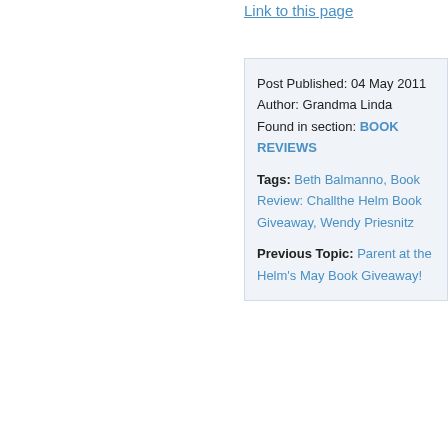Link to this page
Post Published: 04 May 2011
Author: Grandma Linda
Found in section: BOOK REVIEWS
Tags: Beth Balmanno, Book Review: Chall... the Helm Book Giveaway, Wendy Priesnitz
Previous Topic: Parent at the Helm's May Book Giveaway!
Leave a Reply
Name
Mail (
Webs